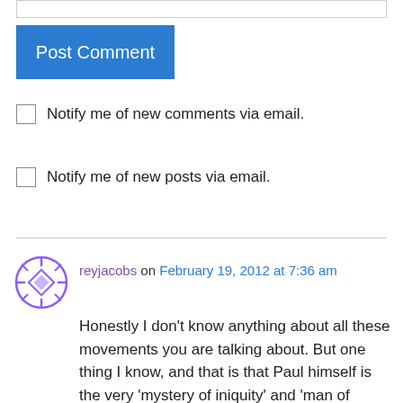[Figure (other): Text input field (top bar)]
Post Comment
Notify me of new comments via email.
Notify me of new posts via email.
reyjacobs on February 19, 2012 at 7:36 am
Honestly I don't know anything about all these movements you are talking about. But one thing I know, and that is that Paul himself is the very ‘mystery of iniquity’ and ‘man of lawlessness’ that he speaks of. Also when Paul says “God will send a strong delusion” he is referring to his own doctrine of justification by faith alone — for the